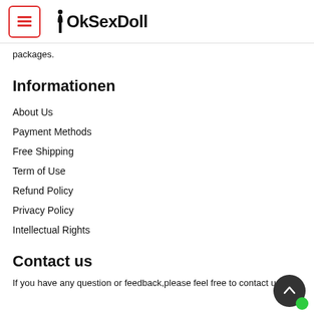OkSexDoll
packages.
Informationen
About Us
Payment Methods
Free Shipping
Term of Use
Refund Policy
Privacy Policy
Intellectual Rights
Contact us
If you have any question or feedback,please feel free to contact us.